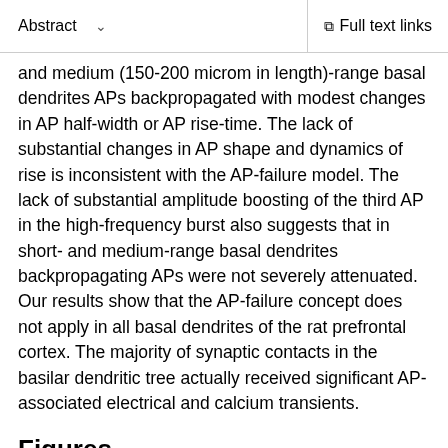Abstract   ∨   Full text links
and medium (150-200 microm in length)-range basal dendrites APs backpropagated with modest changes in AP half-width or AP rise-time. The lack of substantial changes in AP shape and dynamics of rise is inconsistent with the AP-failure model. The lack of substantial amplitude boosting of the third AP in the high-frequency burst also suggests that in short- and medium-range basal dendrites backpropagating APs were not severely attenuated. Our results show that the AP-failure concept does not apply in all basal dendrites of the rat prefrontal cortex. The majority of synaptic contacts in the basilar dendritic tree actually received significant AP-associated electrical and calcium transients.
Figures
[Figure (other): Partial figure thumbnail, bottom of page, content not visible]